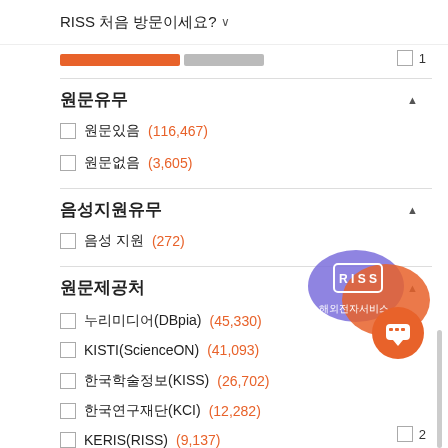RISS 처음 방문이세요? ∨
[Figure (infographic): Orange and gray progress/filter bar segments with checkbox and page number 1]
원문유무 ▲
원문있음 (116,467)
원문없음 (3,605)
음성지원유무 ▲
음성 지원 (272)
원문제공처 ▲
누리미디어(DBpia) (45,330)
KISTI(ScienceON) (41,093)
한국학술정보(KISS) (26,702)
한국연구재단(KCI) (12,282)
KERIS(RISS) (9,137)
[Figure (logo): RISS 해외전자서비스 chat bubble overlay badge in blue, orange, purple]